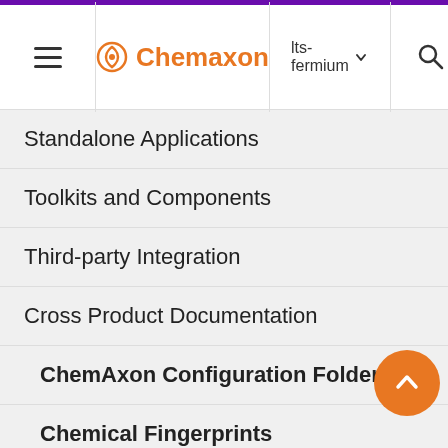Chemaxon | lts-fermium
Standalone Applications
Toolkits and Components
Third-party Integration
Cross Product Documentation
ChemAxon Configuration Folder
Chemical Fingerprints
Chemical Terms
File Formats
Basic export options
a M is a s c M th it h th s a b